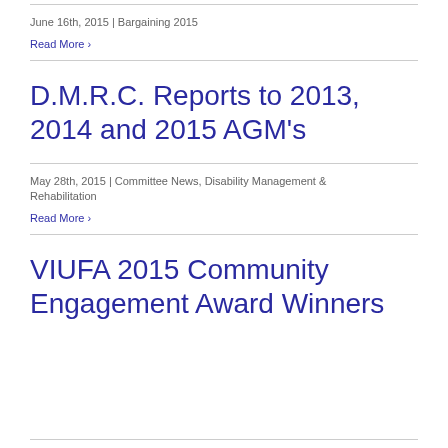June 16th, 2015 | Bargaining 2015
Read More
D.M.R.C. Reports to 2013, 2014 and 2015 AGM's
May 28th, 2015 | Committee News, Disability Management & Rehabilitation
Read More
VIUFA 2015 Community Engagement Award Winners